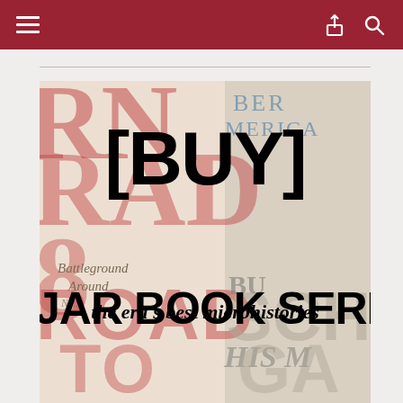Navigation bar with menu, share, and search icons
[Figure (illustration): Book cover collage image featuring large bold text overlays '[BUY]', 'JAR BOOK SERIES', 'the era's best microhistories' over a montage of book cover elements with red and muted typography including words like Battleground, Around, ROAD TO, BER MERICA, HIS M, SCH, GA on a cream/parchment background.]